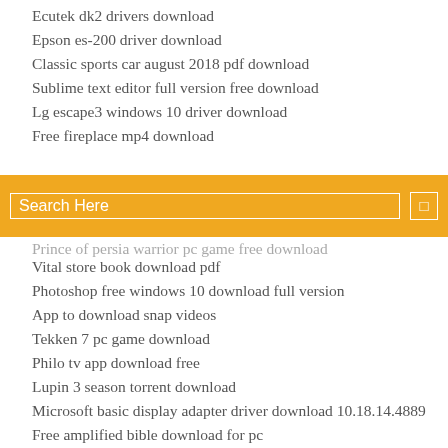Ecutek dk2 drivers download
Epson es-200 driver download
Classic sports car august 2018 pdf download
Sublime text editor full version free download
Lg escape3 windows 10 driver download
Free fireplace mp4 download
[Figure (screenshot): Orange search bar with 'Search Here' placeholder text and a small icon button on the right]
Prince of persia warrior pc game free download
Vital store book download pdf
Photoshop free windows 10 download full version
App to download snap videos
Tekken 7 pc game download
Philo tv app download free
Lupin 3 season torrent download
Microsoft basic display adapter driver download 10.18.14.4889
Free amplified bible download for pc
Download files rom rapidshare
Minecraft zip file download